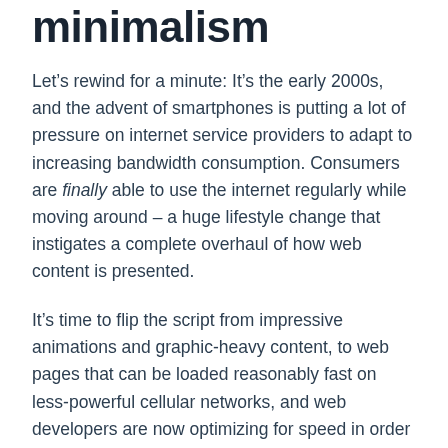minimalism
Let’s rewind for a minute: It’s the early 2000s, and the advent of smartphones is putting a lot of pressure on internet service providers to adapt to increasing bandwidth consumption. Consumers are finally able to use the internet regularly while moving around – a huge lifestyle change that instigates a complete overhaul of how web content is presented.
It’s time to flip the script from impressive animations and graphic-heavy content, to web pages that can be loaded reasonably fast on less-powerful cellular networks, and web developers are now optimizing for speed in order to keep up. Take this and add on the effects of social media platforms like Facebook, which must be adapted for as little as 2G speeds in order to become more globally accessible, and you can envision the increasing need for a more “trimmed-down” approach.